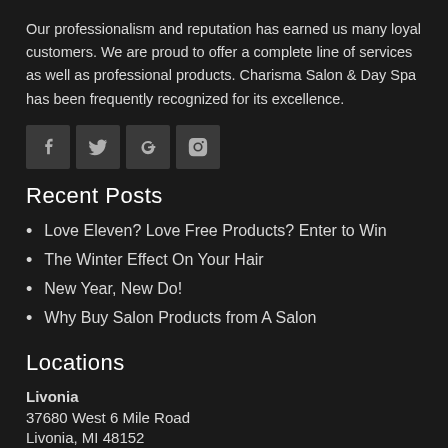Our professionalism and reputation has earned us many loyal customers. We are proud to offer a complete line of services as well as professional products. Charisma Salon & Day Spa has been frequently recognized for its excellence.
[Figure (illustration): Four social media icon buttons: Facebook (f), Twitter (bird), Google+ (g+), Instagram (camera)]
Recent Posts
Love Eleven? Love Free Products? Enter to Win
The Winter Effect On Your Hair
New Year, New Do!
Why Buy Salon Products from A Salon
Locations
Livonia
37680 West 6 Mile Road
Livonia, MI 48152
Phone: 734.464.8686